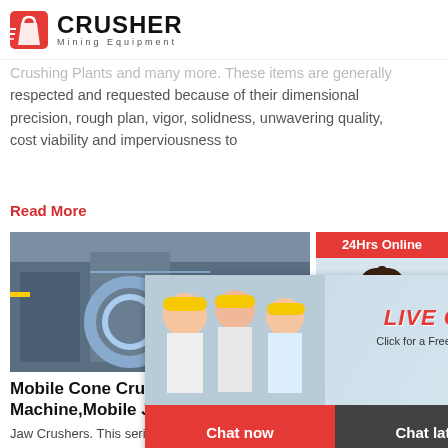[Figure (logo): Crusher Mining Equipment logo with red shopping bag icon and bold black text]
Crushing Plants and many more. These items are generally respected and requested because of their dimensional precision, rough plan, vigor, solidness, unwavering quality, cost viability and imperviousness to
Read More
[Figure (photo): Industrial machinery/crusher equipment photo]
[Figure (photo): Live chat overlay with workers in hard hats, LIVE CHAT heading, Chat now and Chat later buttons]
[Figure (photo): Right sidebar with 24Hrs Online banner, customer service agent with headset, Need questions & suggestion, Chat Now button, Enquiry section, limingjlmofen@sina.com]
Mobile Cone Crusher,Stone Crush Machine,Mobile Jaw ...
Jaw Crushers. This series of jaw crusher belong crushing equipment which is widely used in the metallurgy, mining, cement, chemistry, refractor ceramics as well as highway construction and w conservancy. Read More; Tracked Jaw Crusher.